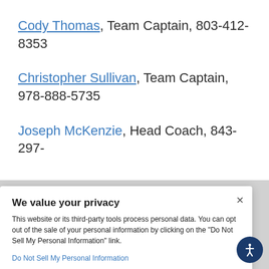Cody Thomas, Team Captain, 803-412-8353
Christopher Sullivan, Team Captain, 978-888-5735
Joseph McKenzie, Head Coach, 843-297-
We value your privacy
This website or its third-party tools process personal data. You can opt out of the sale of your personal information by clicking on the “Do Not Sell My Personal Information” link.
Do Not Sell My Personal Information